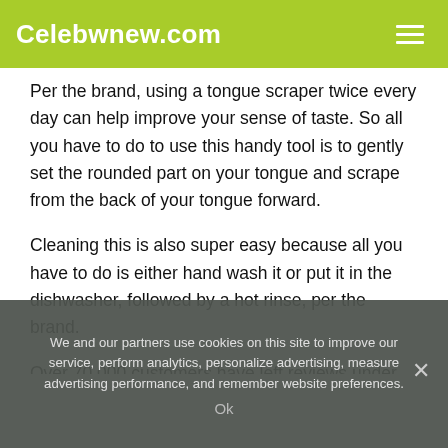Celebwnew.com
Per the brand, using a tongue scraper twice every day can help improve your sense of taste. So all you have to do to use this handy tool is to gently set the rounded part on your tongue and scrape from the back of your tongue forward.
Cleaning this is also super easy because all you have to do is either hand wash it or put it in the dishwasher, followed by a hot rinse, per the brand.
Over 70,000 customers have left reviews under this hygienic tool, with over 55,000 leaving five-star reviews, raving about the product. One of the top reviews labeled their review “bye-
We and our partners use cookies on this site to improve our service, perform analytics, personalize advertising, measure advertising performance, and remember website preferences.
Ok